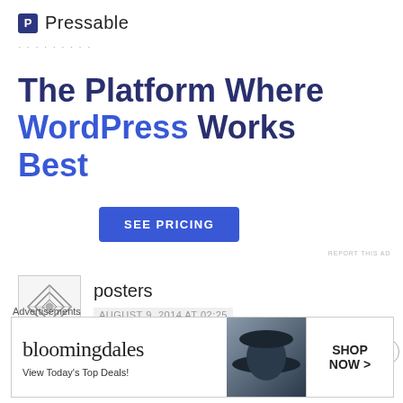[Figure (logo): Pressable logo with blue P icon and brand name]
The Platform Where WordPress Works Best
[Figure (other): SEE PRICING button (blue CTA button)]
REPORT THIS AD
[Figure (other): Commenter avatar icon - geometric diamond pattern]
posters
AUGUST 9, 2014 AT 02:25
Hello, I enjoy reading through your post. I wanted to
Advertisements
[Figure (other): Bloomingdale's banner ad: logo, View Today's Top Deals!, model with hat, SHOP NOW button]